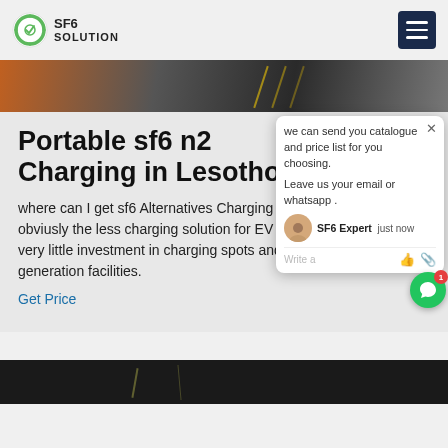SF6 SOLUTION
[Figure (photo): Hero image showing industrial/electrical equipment with orange tones and yellow light streaks]
Portable sf6 n2 Charging in Lesotho
where can I get sf6 Alternatives Charging in Lesotho. This is obviusly the less charging solution for EV recharge because it with very little investment in charging spots and it does not require new generation facilities.
Get Price
[Figure (screenshot): Chat popup overlay: 'we can send you catalogue and price list for you choosing. Leave us your email or whatsapp . SF6 Expert just now Write a [thumbs up] [paperclip]']
[Figure (photo): Bottom dark image strip showing industrial electrical equipment]